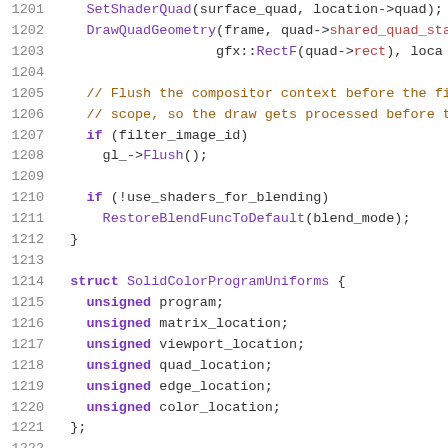Source code listing, lines 1201-1222, C++ code showing DrawQuadGeometry call, flush logic, and SolidColorProgramUniforms struct definition.